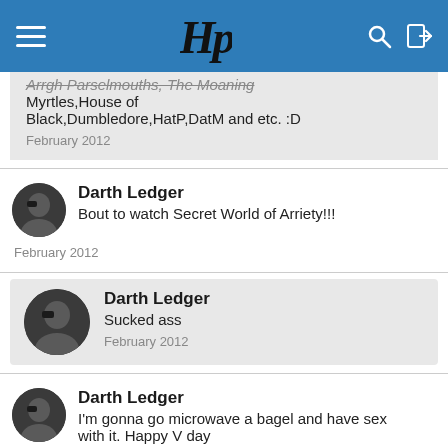Hp
Arrgh Parselmouths, The Moaning Myrtles, House of Black, Dumbledore, HatP, DatM and etc. :D
February 2012
Darth Ledger
Bout to watch Secret World of Arriety!!!
February 2012
Darth Ledger
Sucked ass
February 2012
Darth Ledger
I'm gonna go microwave a bagel and have sex with it. Happy V day